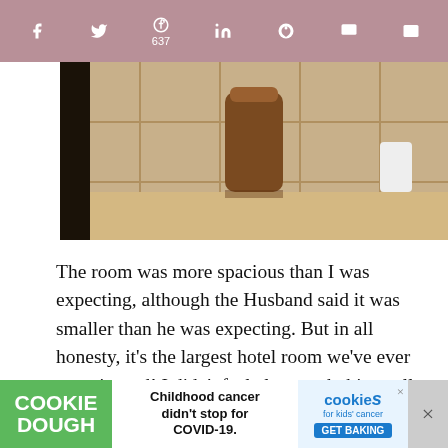[Figure (screenshot): Social media sharing toolbar with icons for Facebook, Twitter, Pinterest (637), LinkedIn, Reddit, Flipboard, and Mix on a mauve/rose background]
[Figure (photo): Close-up photo of a bathroom counter with beige tiles and a decorative bronze/copper vessel or canister, with a white cup in the background]
The room was more spacious than I was expecting, although the Husband said it was smaller than he was expecting. But in all honesty, it's the largest hotel room we've ever experienced! I didn't feel claustrophobic at all.
[Figure (photo): Interior photo of a hotel room ceiling with recessed lighting and decorative tile border along the wall]
[Figure (screenshot): Cookie Dough advertisement banner: green left section with 'COOKIE DOUGH' text, middle section with 'Childhood cancer didn't stop for COVID-19.' text, right section with cookies for kids cancer logo and GET BAKING button]